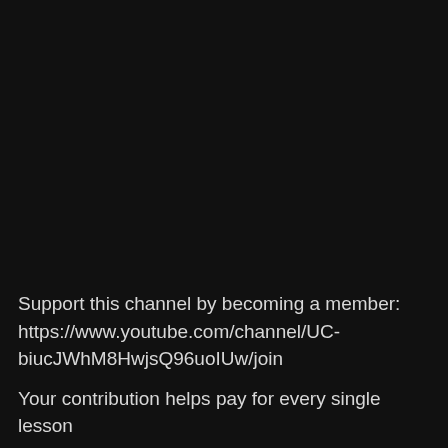Support this channel by becoming a member: https://www.youtube.com/channel/UC-biucJWhM8HwjsQ96uoIUw/join
Your contribution helps pay for every single lesson